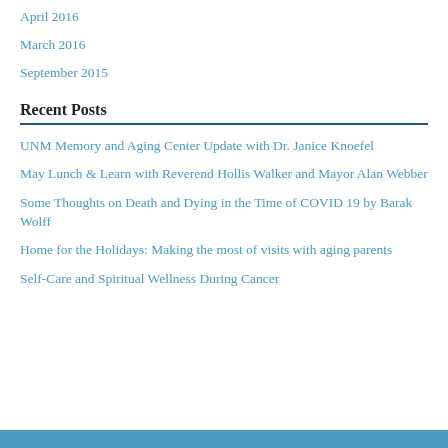April 2016
March 2016
September 2015
Recent Posts
UNM Memory and Aging Center Update with Dr. Janice Knoefel
May Lunch & Learn with Reverend Hollis Walker and Mayor Alan Webber
Some Thoughts on Death and Dying in the Time of COVID 19 by Barak Wolff
Home for the Holidays: Making the most of visits with aging parents
Self-Care and Spiritual Wellness During Cancer